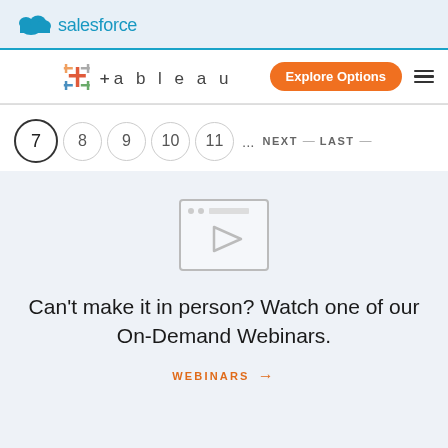salesforce
[Figure (logo): Tableau logo with icon and nav bar containing Explore Options button and hamburger menu]
7  8  9  10  11  ...  NEXT —  LAST —
[Figure (screenshot): Video thumbnail placeholder with play button icon]
Can't make it in person? Watch one of our On-Demand Webinars.
WEBINARS →